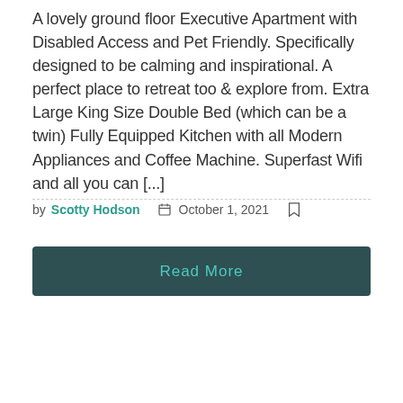A lovely ground floor Executive Apartment with Disabled Access and Pet Friendly. Specifically designed to be calming and inspirational. A perfect place to retreat too & explore from. Extra Large King Size Double Bed (which can be a twin) Fully Equipped Kitchen with all Modern Appliances and Coffee Machine. Superfast Wifi and all you can [...]
by Scotty Hodson  October 1, 2021  [bookmark]
Read More